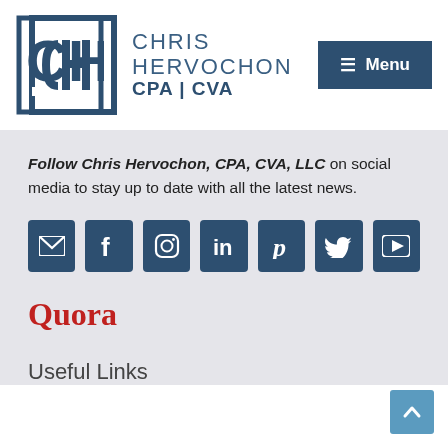[Figure (logo): Chris Hervochon CPA CVA logo with CH monogram in a bordered square and text to the right]
Follow Chris Hervochon, CPA, CVA, LLC on social media to stay up to date with all the latest news.
[Figure (infographic): Row of 7 dark blue social media icon buttons: email, Facebook, Instagram, LinkedIn, Pinterest, Twitter, YouTube]
[Figure (logo): Quora logo in red serif font]
Useful Links